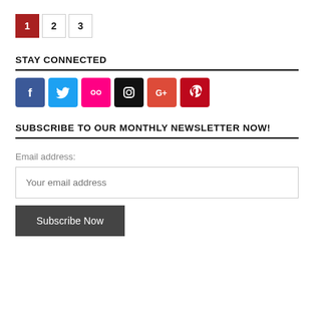1 2 3 (pagination buttons)
STAY CONNECTED
[Figure (other): Social media icon buttons: Facebook, Twitter, Flickr, Instagram, Google+, Pinterest]
SUBSCRIBE TO OUR MONTHLY NEWSLETTER NOW!
Email address:
Your email address
Subscribe Now